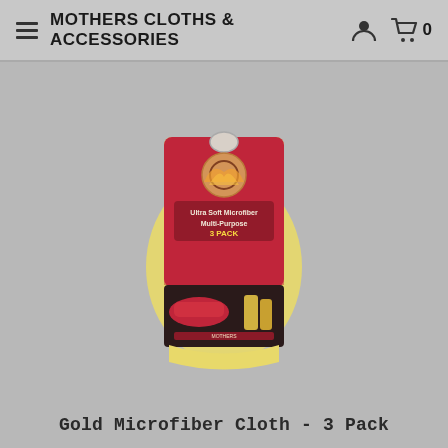MOTHERS CLOTHS & ACCESSORIES
[Figure (photo): Product photo of Gold Microfiber Cloth 3 Pack by Mothers — package shows yellow microfiber cloths folded, with red and yellow branded packaging label reading 'Ultra Soft Microfiber Multi-Purpose 3 PACK', and a bottom panel showing the product in use on a red car.]
Gold Microfiber Cloth - 3 Pack